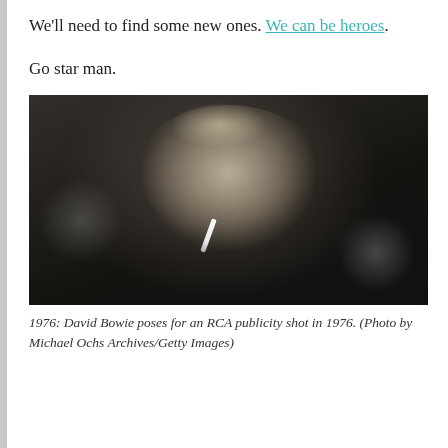We'll need to find some new ones. We can be heroes.
Go star man.
[Figure (photo): Black and white photograph of David Bowie in profile, with slicked-back blonde hair, smoking a cigarette, with bokeh light spots in background.]
1976: David Bowie poses for an RCA publicity shot in 1976. (Photo by Michael Ochs Archives/Getty Images)